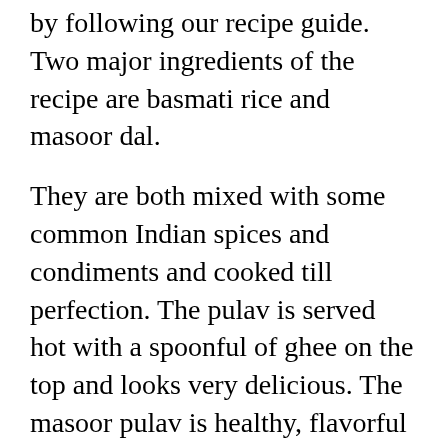by following our recipe guide. Two major ingredients of the recipe are basmati rice and masoor dal.
They are both mixed with some common Indian spices and condiments and cooked till perfection. The pulav is served hot with a spoonful of ghee on the top and looks very delicious. The masoor pulav is healthy, flavorful and aromatic dish to cook up in a hurry.
Take a look at more One Pot Meal Recipes. You may also want to try undefined, undefined, undefined, undefined, undefined, undefined, undefined